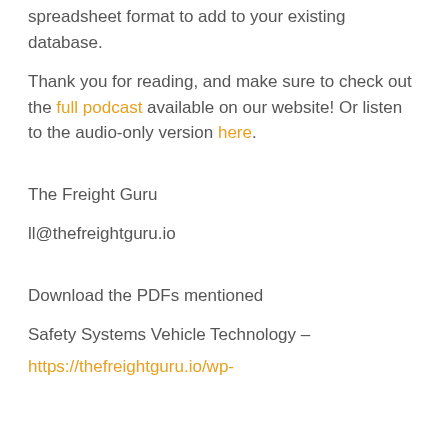spreadsheet format to add to your existing database.
Thank you for reading, and make sure to check out the full podcast available on our website! Or listen to the audio-only version here.
The Freight Guru
ll@thefreightguru.io
Download the PDFs mentioned
Safety Systems Vehicle Technology –
https://thefreightguru.io/wp-